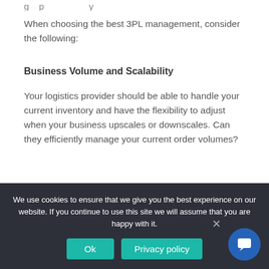g…p…y…
When choosing the best 3PL management, consider the following:
Business Volume and Scalability
Your logistics provider should be able to handle your current inventory and have the flexibility to adjust when your business upscales or downscales. Can they efficiently manage your current order volumes?
Reputation and Track Record
It makes perfect sense to want to hire a 3PL company
We use cookies to ensure that we give you the best experience on our website. If you continue to use this site we will assume that you are happy with it.
Ok
Privacy policy